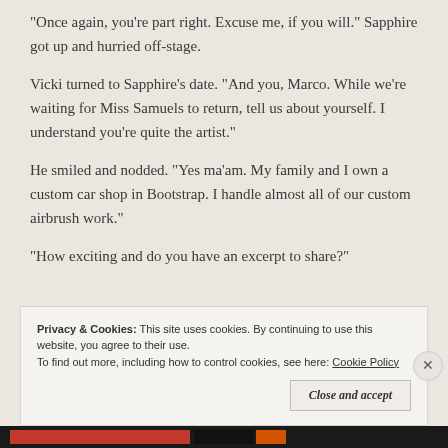“Once again, you’re part right. Excuse me, if you will.” Sapphire got up and hurried off-stage.
Vicki turned to Sapphire’s date. “And you, Marco. While we’re waiting for Miss Samuels to return, tell us about yourself. I understand you’re quite the artist.”
He smiled and nodded. “Yes ma’am. My family and I own a custom car shop in Bootstrap. I handle almost all of our custom airbrush work.”
“How exciting and do you have an excerpt to share?”
Privacy & Cookies: This site uses cookies. By continuing to use this website, you agree to their use.
To find out more, including how to control cookies, see here: Cookie Policy